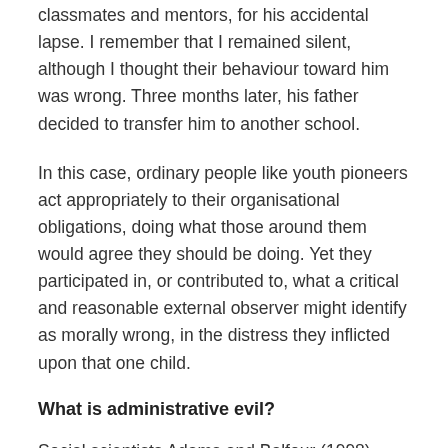classmates and mentors, for his accidental lapse. I remember that I remained silent, although I thought their behaviour toward him was wrong. Three months later, his father decided to transfer him to another school.
In this case, ordinary people like youth pioneers act appropriately to their organisational obligations, doing what those around them would agree they should be doing. Yet they participated in, or contributed to, what a critical and reasonable external observer might identify as morally wrong, in the distress they inflicted upon that one child.
What is administrative evil?
Social scientists Adams and Balfour (1998) deem that the technical-rational approach to social and political problems that characterises the modern age, has enabled a new and frightening form of evil. This evil is associated not with sadistic intention, but with harm caused